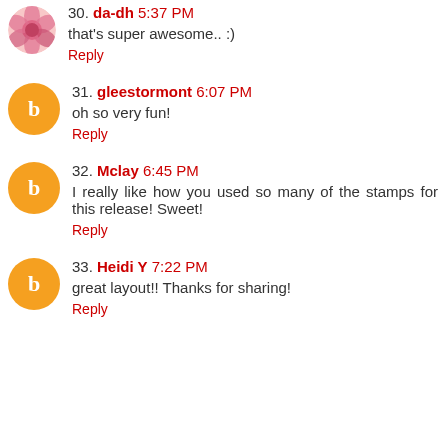30. da-dh 5:37 PM
that's super awesome.. :)
Reply
31. gleestormont 6:07 PM
oh so very fun!
Reply
32. Mclay 6:45 PM
I really like how you used so many of the stamps for this release! Sweet!
Reply
33. Heidi Y 7:22 PM
great layout!! Thanks for sharing!
Reply